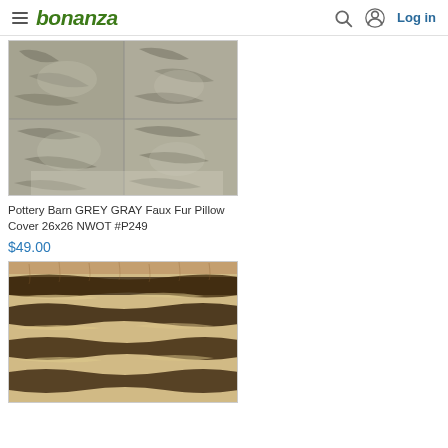bonanza — Log in
[Figure (photo): Pottery Barn grey/gray faux fur pillow cover product photo, showing a square gray furry pillow cover with sectioned panels]
Pottery Barn GREY GRAY Faux Fur Pillow Cover 26x26 NWOT #P249
$49.00
[Figure (photo): Faux fur pillow or blanket with leopard/animal print pattern in beige and dark brown/black, product photo]